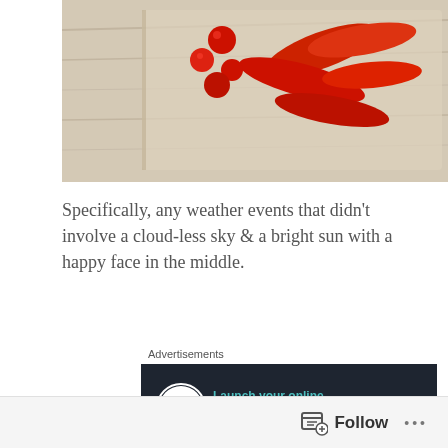[Figure (photo): Photo of sliced red peppers and cherry tomatoes on a wooden cutting board, top portion visible]
Specifically, any weather events that didn't involve a cloud-less sky & a bright sun with a happy face in the middle.
Advertisements
[Figure (screenshot): Advertisement banner with dark background: bonsai tree icon, text 'Launch your online course with WordPress', and 'Learn More' call to action button]
REPORT THIS AD
[Figure (photo): Photo of halved avocado and sugar snap peas on a wooden cutting board]
Follow